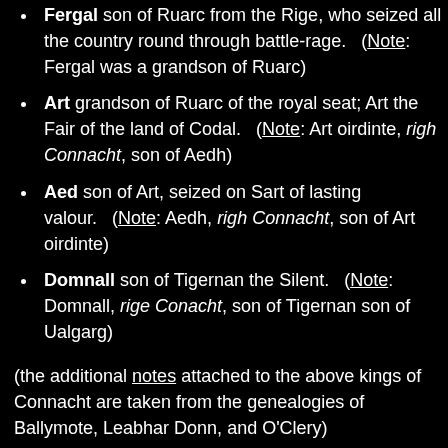Fergal son of Ruarc from the Rige, who seized all the country round through battle-rage. (Note: Fergal was a grandson of Ruarc)
Art grandson of Ruarc of the royal seat; Art the Fair of the land of Codal. (Note: Art oirdinte, righ Connacht, son of Aedh)
Aed son of Art, seized on Sart of lasting valour. (Note: Aedh, righ Connacht, son of Art oirdinte)
Domnall son of Tigernan the Silent. (Note: Domnall, rige Conacht, son of Tigernan son of Ualgarg)
(the additional notes attached to the above kings of Connacht are taken from the genealogies of Ballymote, Leabhar Donn, and O'Clery)